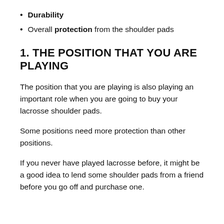Durability
Overall protection from the shoulder pads
1. THE POSITION THAT YOU ARE PLAYING
The position that you are playing is also playing an important role when you are going to buy your lacrosse shoulder pads.
Some positions need more protection than other positions.
If you never have played lacrosse before, it might be a good idea to lend some shoulder pads from a friend before you go off and purchase one.